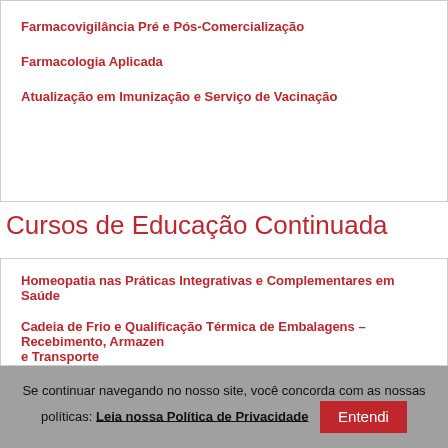Farmacovigilância Pré e Pós-Comercialização
Farmacologia Aplicada
Atualização em Imunização e Serviço de Vacinação
Cursos de Educação Continuada
Homeopatia nas Práticas Integrativas e Complementares em Saúde
Cadeia de Frio e Qualificação Térmica de Embalagens – Recebimento, Armazenamento e Transporte
Validação de Sistemas Computadorizados
Tecnovigilância
Se continuar navegando no nosso site, você concorda com as nossas políticas: Leia nossa Política de Privacidade  Entendi